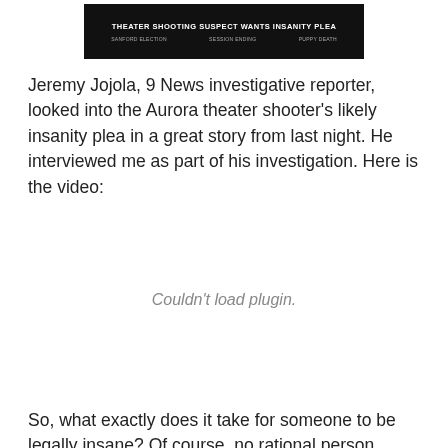[Figure (screenshot): News broadcast screenshot showing headline 'THEATER SHOOTING SUSPECT WANTS INSANITY PLEA' with ticker items: SANFORD ELECTION, SESSION ENDING, PUPPY DEATH]
Jeremy Jojola, 9 News investigative reporter, looked into the Aurora theater shooter's likely insanity plea in a great story from last night. He interviewed me as part of his investigation. Here is the video:
[Figure (other): Embedded video plugin area showing 'Couldn't load plugin.' message]
So, what exactly does it take for someone to be legally insane? Of course, no rational person would commit such a